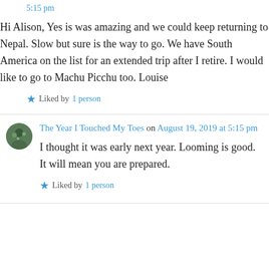5:15 pm
Hi Alison, Yes is was amazing and we could keep returning to Nepal. Slow but sure is the way to go. We have South America on the list for an extended trip after I retire. I would like to go to Machu Picchu too. Louise
Liked by 1 person
The Year I Touched My Toes on August 19, 2019 at 5:15 pm
I thought it was early next year. Looming is good. It will mean you are prepared.
Liked by 1 person